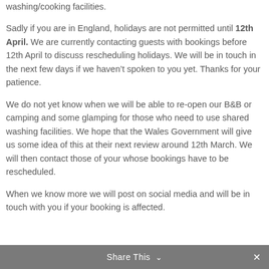washing/cooking facilities.
Sadly if you are in England, holidays are not permitted until 12th April. We are currently contacting guests with bookings before 12th April to discuss rescheduling holidays. We will be in touch in the next few days if we haven’t spoken to you yet. Thanks for your patience.
We do not yet know when we will be able to re-open our B&B or camping and some glamping for those who need to use shared washing facilities. We hope that the Wales Government will give us some idea of this at their next review around 12th March. We will then contact those of your whose bookings have to be rescheduled.
When we know more we will post on social media and will be in touch with you if your booking is affected.
Share This ∨  ×